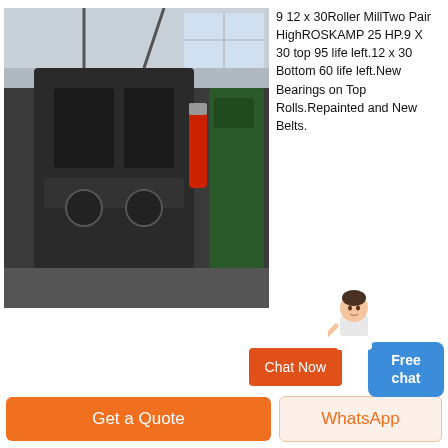[Figure (photo): Industrial roller mill machine in a facility, dark machinery with pipes and mechanical components]
9 12 x 30Roller MillTwo Pair HighROSKAMP 25 HP.9 X 30 top 95 life left.12 x 30 Bottom 60 life left.New Bearings on Top Rolls.Repainted and New Belts.
[Figure (photo): Large industrial blue grain processing tower/mill equipment outdoors with scaffolding]
Roskamp Roller Mill 1200 Crusheraxanta ag
Roskamp Model K Roller Mill For Sale Peer To Peer Oct 28 2020 roskamp model k roller mill i have a used roskamp model k single pair roller mill that is in great
Get a Quote
WhatsApp